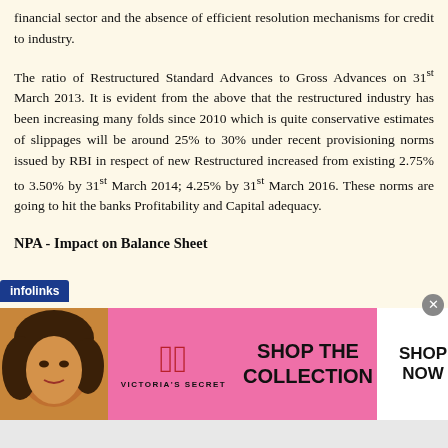financial sector and the absence of efficient resolution mechanisms for credit to industry.
The ratio of Restructured Standard Advances to Gross Advances on 31st March 2013. It is evident from the above that the restructured industry has been increasing many folds since 2010 which is quite conservative estimates of slippages will be around 25% to 30% under recent provisioning norms issued by RBI in respect of new Restructured increased from existing 2.75% to 3.50% by 31st March 2014; 4.25% by 31st March 2016. These norms are going to hit the banks Profitability and Capital adequacy.
NPA - Impact on Balance Sheet
[Figure (screenshot): Advertisement banner from Victoria's Secret with infolinks label and close button. Pink background with model photo on left, Victoria's Secret logo in center, 'SHOP THE COLLECTION' text and 'SHOP NOW' button on right.]